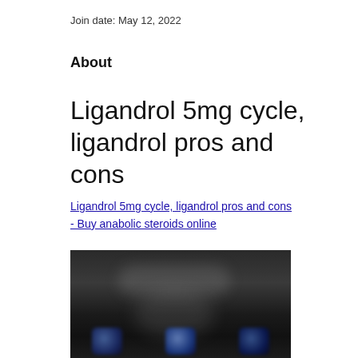Join date: May 12, 2022
About
Ligandrol 5mg cycle, ligandrol pros and cons
Ligandrol 5mg cycle, ligandrol pros and cons - Buy anabolic steroids online
[Figure (photo): Blurred dark image showing supplement products at the bottom]